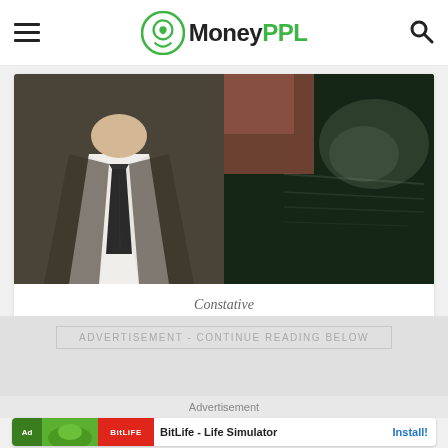MoneyPPL
[Figure (photo): Split image: left side shows a man in a suit with a tie (torso/neck area); right side shows a dark greenish background with faint text/smoke effect.]
Constative
ADVERTISEMENT - CONTINUE READING BELOW
Advertisement
BitLife - Life Simulator  Install!